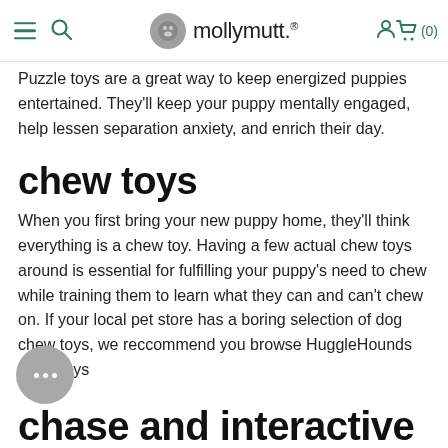mollymutt.
Puzzle toys are a great way to keep energized puppies entertained. They'll keep your puppy mentally engaged, help lessen separation anxiety, and enrich their day.
chew toys
When you first bring your new puppy home, they'll think everything is a chew toy. Having a few actual chew toys around is essential for fulfilling your puppy's need to chew while training them to learn what they can and can't chew on. If your local pet store has a boring selection of dog chew toys, we reccommend you browse HuggleHounds chew toys
chase and interactive